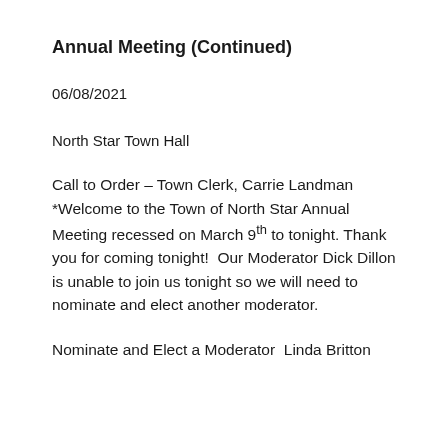Annual Meeting (Continued)
06/08/2021
North Star Town Hall
Call to Order – Town Clerk, Carrie Landman *Welcome to the Town of North Star Annual Meeting recessed on March 9th to tonight. Thank you for coming tonight!  Our Moderator Dick Dillon is unable to join us tonight so we will need to nominate and elect another moderator.
Nominate and Elect a Moderator  Linda Britton